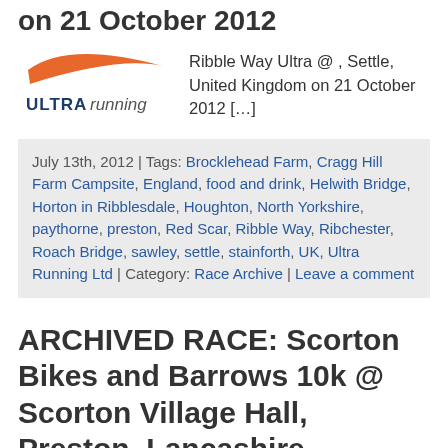on 21 October 2012
[Figure (logo): Ultra Running logo with orange swoosh and blue/dark text]
Ribble Way Ultra @ , Settle, United Kingdom on 21 October 2012 […]
July 13th, 2012 | Tags: Brocklehead Farm, Cragg Hill Farm Campsite, England, food and drink, Helwith Bridge, Horton in Ribblesdale, Houghton, North Yorkshire, paythorne, preston, Red Scar, Ribble Way, Ribchester, Roach Bridge, sawley, settle, stainforth, UK, Ultra Running Ltd | Category: Race Archive | Leave a comment
ARCHIVED RACE: Scorton Bikes and Barrows 10k @ Scorton Village Hall, Preston, Lancashire, England on 06 May 2012